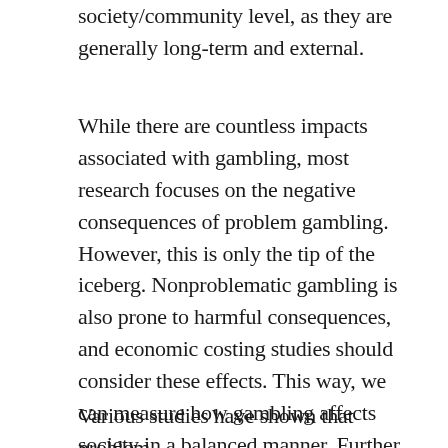society/community level, as they are generally long-term and external.
While there are countless impacts associated with gambling, most research focuses on the negative consequences of problem gambling. However, this is only the tip of the iceberg. Nonproblematic gambling is also prone to harmful consequences, and economic costing studies should consider these effects. This way, we can measure how gambling affects society in a balanced manner. Further, this approach recognizes the positive benefits of gambling and recognizes the costs of problem gambling.
Various studies have shown that problem gambling association between a...